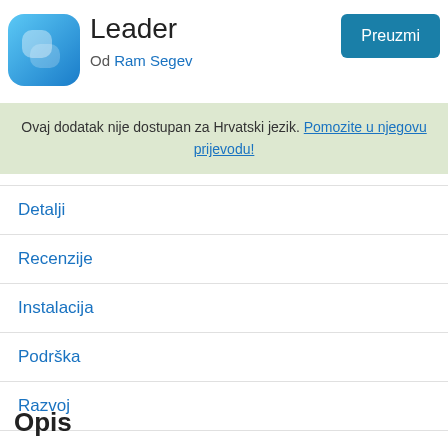[Figure (logo): Blue gradient app icon with a stylized 'b' shape, rounded square.]
Leader
Od Ram Segev
Preuzmi
Ovaj dodatak nije dostupan za Hrvatski jezik. Pomozite u njegovu prijevodu!
Detalji
Recenzije
Instalacija
Podrška
Razvoj
Opis